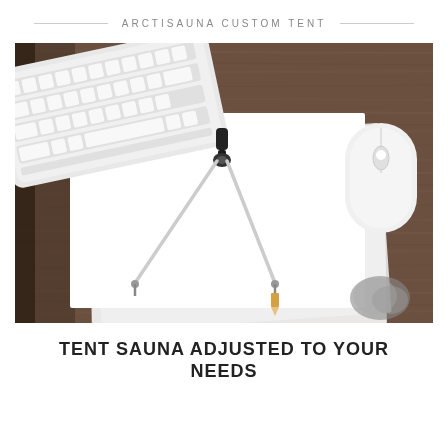ARCTISAUNA CUSTOM TENT
[Figure (photo): Top-down view of a wooden desk with white paper sheets, a drawing compass/divider tool centered on the paper, a white Apple keyboard in the top-left, a white wireless mouse on the right, and a feathery object at bottom-right.]
TENT SAUNA ADJUSTED TO YOUR NEEDS